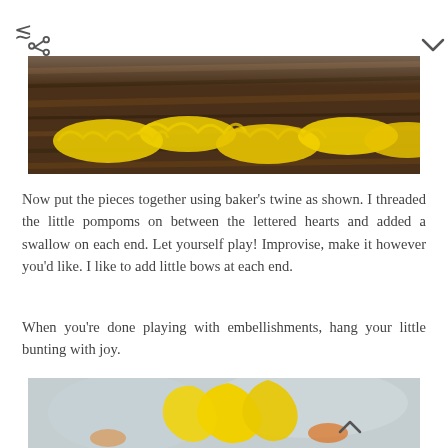[Figure (photo): Top photo showing yellow decorative paper cut shapes on a dark wooden background]
Now put the pieces together using baker’s twine as shown. I threaded the little pompoms on between the lettered hearts and added a swallow on each end. Let yourself play! Improvise, make it however you’d like. I like to add little bows at each end.
When you’re done playing with embellishments, hang your little bunting with joy.
[Figure (photo): Bottom photo showing yellow decorative cut paper bunting hanging against a light background]